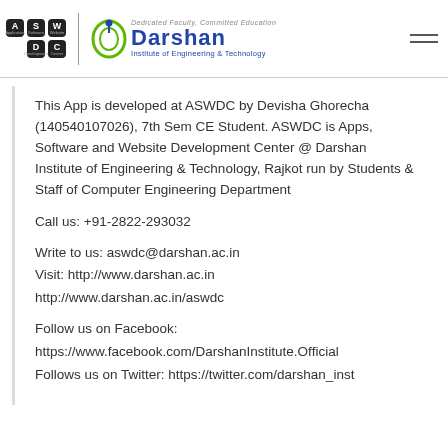[Figure (logo): ASWDC keyboard-style logo and Darshan Institute of Engineering & Technology logo with tagline]
This App is developed at ASWDC by Devisha Ghorecha (140540107026), 7th Sem CE Student. ASWDC is Apps, Software and Website Development Center @ Darshan Institute of Engineering & Technology, Rajkot run by Students & Staff of Computer Engineering Department
Call us: +91-2822-293032
Write to us: aswdc@darshan.ac.in
Visit: http://www.darshan.ac.in
http://www.darshan.ac.in/aswdc
Follow us on Facebook:
https://www.facebook.com/DarshanInstitute.Official
Follows us on Twitter: https://twitter.com/darshan_inst